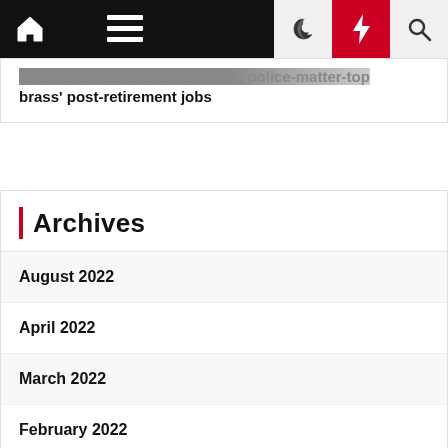Navigation bar with home, menu, dark mode, flash, and search icons
developments norms on it as..., police-matter-top brass' post-retirement jobs
Archives
August 2022
April 2022
March 2022
February 2022
January 2022
December 2021